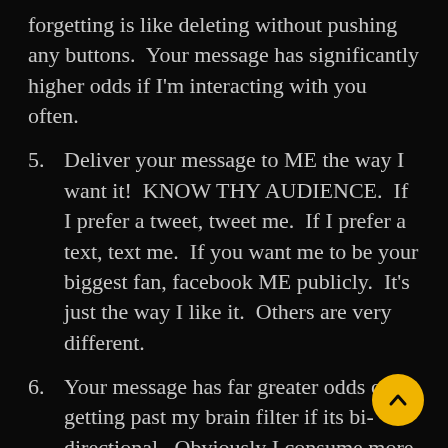forgetting is like deleting without pushing any buttons.  Your message has significantly higher odds if I'm interacting with you often.
5. Deliver your message to ME the way I want it!  KNOW THY AUDIENCE.  If I prefer a tweet, tweet me.  If I prefer a text, text me.  If you want me to be your biggest fan, facebook ME publicly.  It's just the way I like it.  Others are very different.
6. Your message has far greater odds of getting past my brain filter if its bi-directional.  Obviously I consume more content than most and much of that is uni-